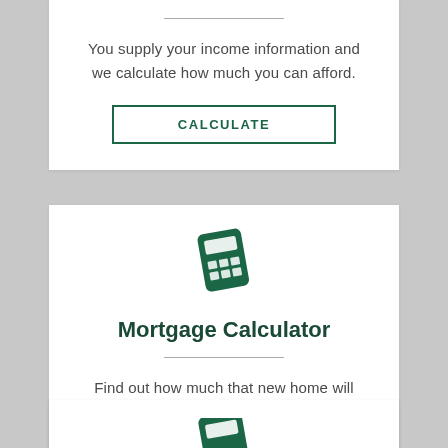You supply your income information and we calculate how much you can afford.
CALCULATE
[Figure (illustration): Calculator icon in dark green, tilted slightly]
Mortgage Calculator
Find out how much that new home will cost!
CALCULATE
[Figure (illustration): Partial calculator icon in dark green at bottom, partially cut off]